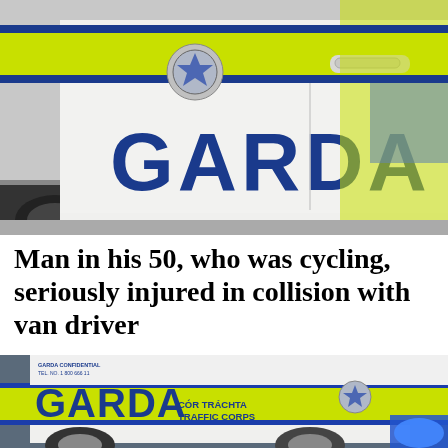[Figure (photo): Close-up photograph of the side of a white Garda (Irish police) vehicle with yellow-green and blue stripes and the word GARDA in large dark blue letters, with a Garda badge visible.]
Man in his 50, who was cycling, seriously injured in collision with van driver
[Figure (photo): Photograph of a Garda Traffic Corps vehicle showing the text GARDA COR TRACHTA TRAFFIC CORPS with yellow-green, blue and white livery and a flashing blue light visible.]